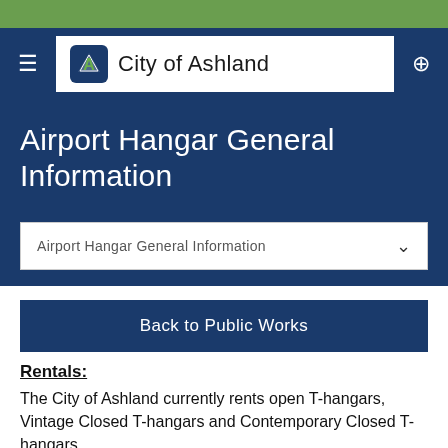City of Ashland
Airport Hangar General Information
Airport Hangar General Information
Back to Public Works
Rentals:
The City of Ashland currently rents open T-hangars, Vintage Closed T-hangars and Contemporary Closed T-hangars.
The Fixed Base Operator duties are currently performed by Skinner Aviation and these duties are specified by a contractual